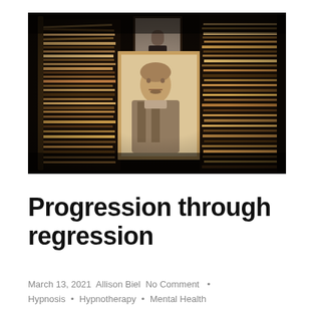[Figure (photo): Stack of old vintage photographs and documents in a storage box, including sepia-toned portrait photographs of people from the early 20th century, piled on their sides]
Progression through regression
March 13, 2021 Allison Biel No Comment · Hypnosis · Hypnotherapy · Mental Health